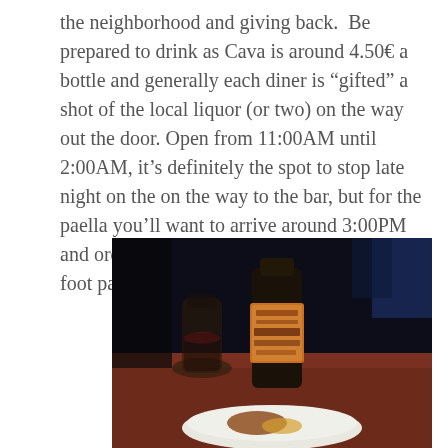the neighborhood and giving back. Be prepared to drink as Cava is around 4.50€ a bottle and generally each diner is “gifted” a shot of the local liquor (or two) on the way out the door. Open from 11:00AM until 2:00AM, it’s definitely the spot to stop late night on the on the way to the bar, but for the paella you’ll want to arrive around 3:00PM and order a plate (for 5.50€!) right as the 3-foot pan comes off the stove.
[Figure (photo): Dark restaurant table scene showing a wine bottle with orange label reading 'Carlos Artu' (partially visible), a glass carafe, a white plate with food, on a red/brown wooden table surface. Background is very dark with blue tones.]